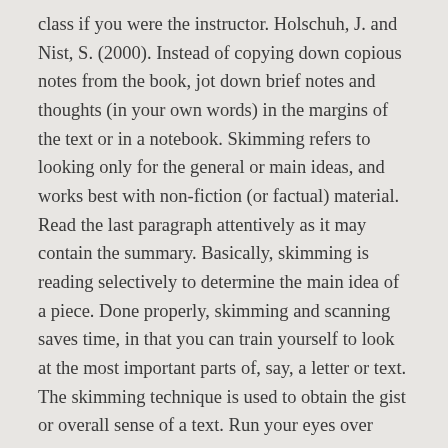class if you were the instructor. Holschuh, J. and Nist, S. (2000). Instead of copying down copious notes from the book, jot down brief notes and thoughts (in your own words) in the margins of the text or in a notebook. Skimming refers to looking only for the general or main ideas, and works best with non-fiction (or factual) material. Read the last paragraph attentively as it may contain the summary. Basically, skimming is reading selectively to determine the main idea of a piece. Done properly, skimming and scanning saves time, in that you can train yourself to look at the most important parts of, say, a letter or text. The skimming technique is used to obtain the gist or overall sense of a text. Run your eyes over